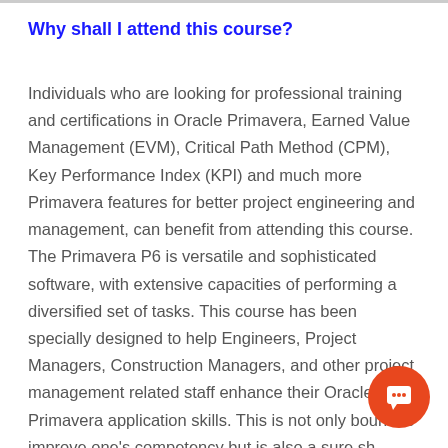Why shall I attend this course?
Individuals who are looking for professional training and certifications in Oracle Primavera, Earned Value Management (EVM), Critical Path Method (CPM), Key Performance Index (KPI) and much more Primavera features for better project engineering and management, can benefit from attending this course. The Primavera P6 is versatile and sophisticated software, with extensive capacities of performing a diversified set of tasks. This course has been specially designed to help Engineers, Project Managers, Construction Managers, and other project management related staff enhance their Oracle Primavera application skills. This is not only bound to improve one's competency but is also a sure shot way of carrying out projects with effective timelines